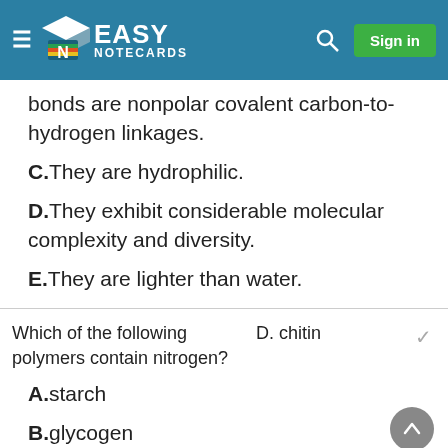Easy Notecards
bonds are nonpolar covalent carbon-to-hydrogen linkages.
C.They are hydrophilic.
D.They exhibit considerable molecular complexity and diversity.
E.They are lighter than water.
Which of the following polymers contain nitrogen?
D. chitin
A.starch
B.glycogen